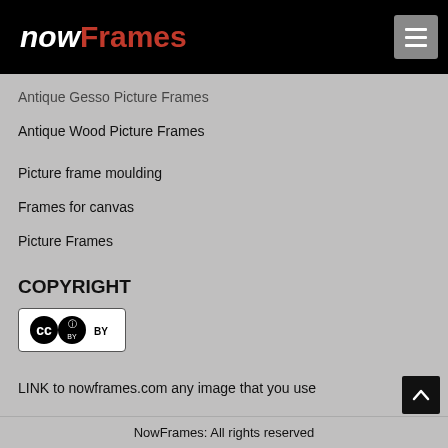[Figure (logo): nowFrames logo: 'now' in white italic bold, 'Frames' in red bold, on black background]
Antique Gesso Picture Frames
Antique Wood Picture Frames
Picture frame moulding
Frames for canvas
Picture Frames
COPYRIGHT
[Figure (logo): Creative Commons BY license badge]
LINK to nowframes.com any image that you use
NowFrames: All rights reserved